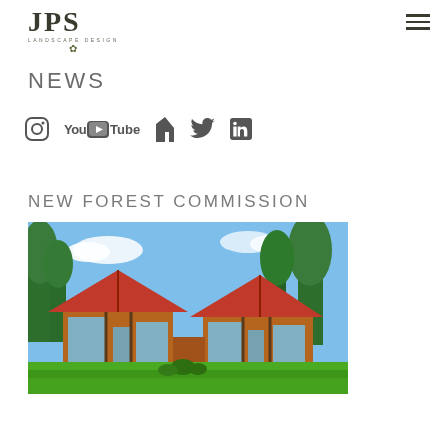JPS LANDSCAPE DESIGN
NEWS
[Figure (other): Social media icons: Instagram, YouTube, Houzz, Twitter, LinkedIn]
NEW FOREST COMMISSION
[Figure (photo): Architectural rendering of two barn-style houses with red roofs, large glass windows, timber framing, surrounded by trees and green lawn]